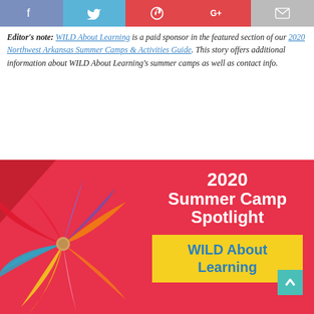[Figure (other): Social media sharing bar with Facebook, Twitter, Pinterest, Google+, and Email buttons]
Editor's note: WILD About Learning is a paid sponsor in the featured section of our 2020 Northwest Arkansas Summer Camps & Activities Guide. This story offers additional information about WILD About Learning's summer camps as well as contact info.
[Figure (infographic): 2020 Summer Camp Spotlight promotional image for WILD About Learning with a colorful pinwheel on a red background and a yellow banner]